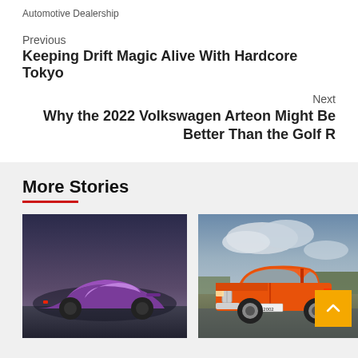Automotive Dealership
Previous
Keeping Drift Magic Alive With Hardcore Tokyo
Next
Why the 2022 Volkswagen Arteon Might Be Better Than the Golf R
More Stories
[Figure (photo): Purple supercar shot from rear three-quarter angle against twilight sky]
[Figure (photo): Orange vintage BMW 2002 parked on wet road with cloudy sky background]